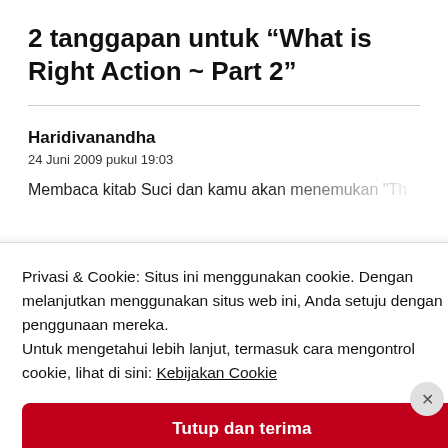2 tanggapan untuk “What is Right Action ~ Part 2”
Haridivanandha
24 Juni 2009 pukul 19:03
Privasi & Cookie: Situs ini menggunakan cookie. Dengan melanjutkan menggunakan situs web ini, Anda setuju dengan penggunaan mereka.
Untuk mengetahui lebih lanjut, termasuk cara mengontrol cookie, lihat di sini: Kebijakan Cookie
Tutup dan terima